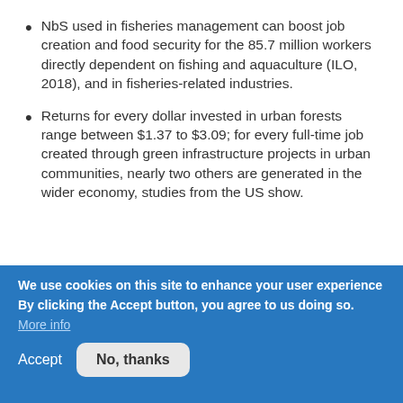NbS used in fisheries management can boost job creation and food security for the 85.7 million workers directly dependent on fishing and aquaculture (ILO, 2018), and in fisheries-related industries.
Returns for every dollar invested in urban forests range between $1.37 to $3.09; for every full-time job created through green infrastructure projects in urban communities, nearly two others are generated in the wider economy, studies from the US show.
We use cookies on this site to enhance your user experience
By clicking the Accept button, you agree to us doing so.
More info
Accept
No, thanks